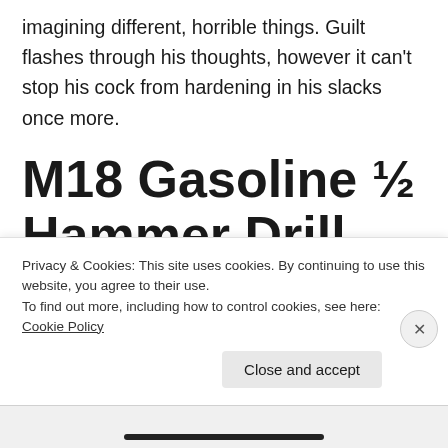imagining different, horrible things. Guilt flashes through his thoughts, however it can't stop his cock from hardening in his slacks once more.
M18 Gasoline ½ Hammer Drill
Unfortunately, it solely bends as a lot as 30°, making it a bit stiff and uncomfortable. You can
Privacy & Cookies: This site uses cookies. By continuing to use this website, you agree to their use.
To find out more, including how to control cookies, see here: Cookie Policy
Close and accept